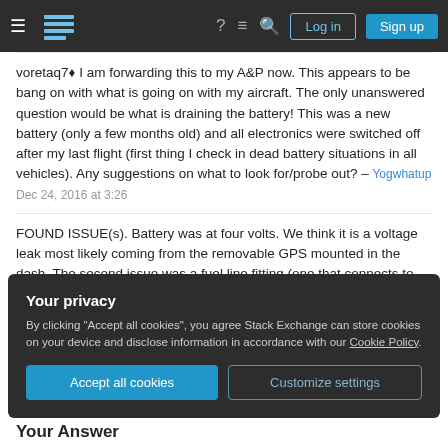Stack Exchange navigation bar with hamburger menu, logo, help, chat, search icons, Log in and Sign up buttons
voretaq7♦ I am forwarding this to my A&P now. This appears to be bang on with what is going on with my aircraft. The only unanswered question would be what is draining the battery! This was a new battery (only a few months old) and all electronics were switched off after my last flight (first thing I check in dead battery situations in all vehicles). Any suggestions on what to look for/probe out? – Yogwhatup Dec 24, 2016 at 3:26
FOUND ISSUE(s). Battery was at four volts. We think it is a voltage leak most likely coming from the removable GPS mounted in the dash. The second issue was a fuel line fitting (one that connects to
Your privacy
By clicking "Accept all cookies", you agree Stack Exchange can store cookies on your device and disclose information in accordance with our Cookie Policy.
Accept all cookies   Customize settings
Your Answer